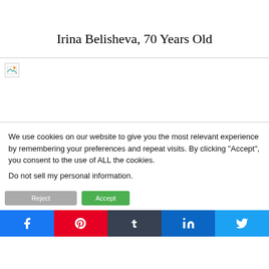Irina Belisheva, 70 Years Old
[Figure (photo): Broken/missing image placeholder]
We use cookies on our website to give you the most relevant experience by remembering your preferences and repeat visits. By clicking “Accept”, you consent to the use of ALL the cookies.
Do not sell my personal information.
[Figure (other): Cookie consent buttons: Reject (gray) and Accept (green)]
[Figure (other): Social share buttons: Facebook, Pinterest, Tumblr, LinkedIn, Twitter]